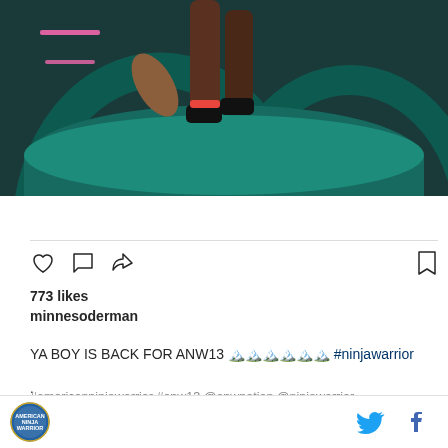[Figure (photo): A person leaping or falling over large teal cylindrical obstacles on what appears to be an American Ninja Warrior course set, with architectural arch-like structures in the background and neon pink lighting strips visible.]
View more on Instagram
773 likes
minnesoderman
YA BOY IS BACK FOR ANW13 🏔️🏔️🏔️🏔️🏔️🏔️ #ninjawarrior
#americanninjawarrior #anw13 @anwnation @ninjawarrior
American Ninja Warrior logo | Twitter icon | Facebook icon